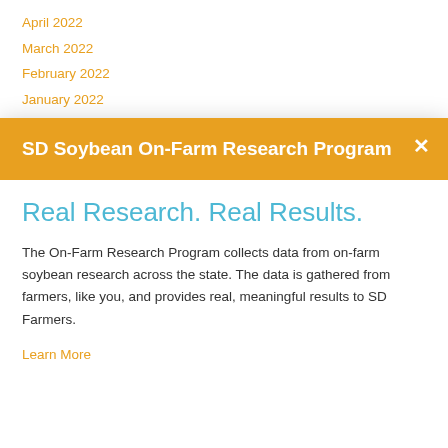April 2022
March 2022
February 2022
January 2022
SD Soybean On-Farm Research Program
Real Research. Real Results.
The On-Farm Research Program collects data from on-farm soybean research across the state. The data is gathered from farmers, like you, and provides real, meaningful results to SD Farmers.
Learn More